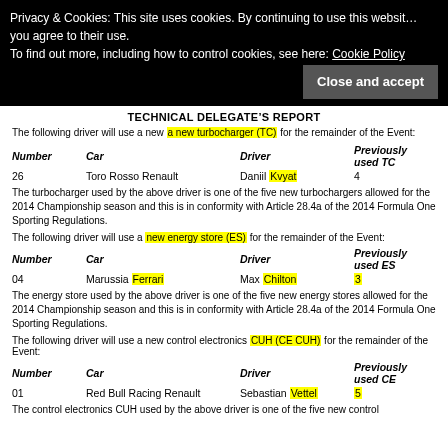Privacy & Cookies: This site uses cookies. By continuing to use this website, you agree to their use. To find out more, including how to control cookies, see here: Cookie Policy
Close and accept
TECHNICAL DELEGATE'S REPORT
The following driver will use a new a new turbocharger (TC) for the remainder of the Event:
| Number | Car | Driver | Previously used TC |
| --- | --- | --- | --- |
| 26 | Toro Rosso Renault | Daniil Kvyat | 4 |
The turbocharger used by the above driver is one of the five new turbochargers allowed for the 2014 Championship season and this is in conformity with Article 28.4a of the 2014 Formula One Sporting Regulations.
The following driver will use a new energy store (ES) for the remainder of the Event:
| Number | Car | Driver | Previously used ES |
| --- | --- | --- | --- |
| 04 | Marussia Ferrari | Max Chilton | 3 |
The energy store used by the above driver is one of the five new energy stores allowed for the 2014 Championship season and this is in conformity with Article 28.4a of the 2014 Formula One Sporting Regulations.
The following driver will use a new control electronics CUH (CE CUH) for the remainder of the Event:
| Number | Car | Driver | Previously used CE |
| --- | --- | --- | --- |
| 01 | Red Bull Racing Renault | Sebastian Vettel | 5 |
The control electronics CUH used by the above driver is one of the five new control